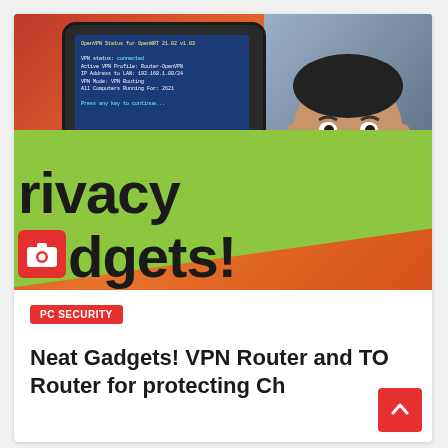[Figure (screenshot): Thumbnail image showing a tablet with blue terminal/VPN setup screen on a red/orange background alongside a man's face, with green diagonal overlay reading 'rivacy Gadgets!' and a camera icon]
PC SECURITY
Neat Gadgets! VPN Router and TO... Router for protecting Ch...